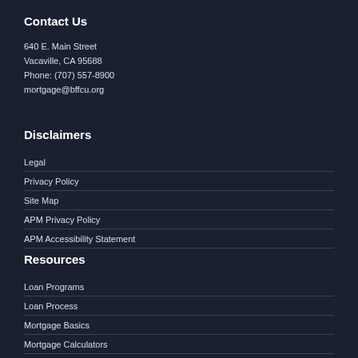Contact Us
640 E. Main Street
Vacaville, CA 95688
Phone: (707) 557-8900
mortgage@bffcu.org
Disclaimers
Legal
Privacy Policy
Site Map
APM Privacy Policy
APM Accessibility Statement
Resources
Loan Programs
Loan Process
Mortgage Basics
Mortgage Calculators